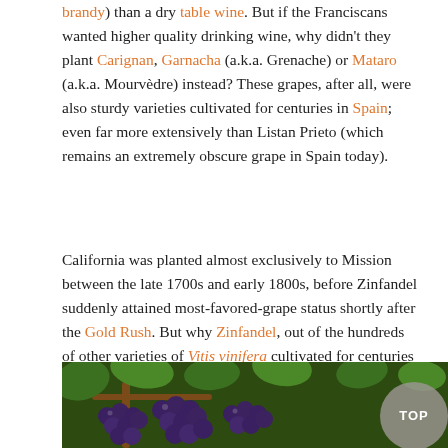brandy) than a dry table wine. But if the Franciscans wanted higher quality drinking wine, why didn't they plant Carignan, Garnacha (a.k.a. Grenache) or Mataro (a.k.a. Mourvèdre) instead? These grapes, after all, were also sturdy varieties cultivated for centuries in Spain; even far more extensively than Listan Prieto (which remains an extremely obscure grape in Spain today).
California was planted almost exclusively to Mission between the late 1700s and early 1800s, before Zinfandel suddenly attained most-favored-grape status shortly after the Gold Rush. But why Zinfandel, out of the hundreds of other varieties of Vitis vinifera cultivated for centuries in Europe?
[Figure (photo): Close-up photograph of dark purple grape clusters hanging on the vine with green leaves visible in the background. A circular grey 'TOP' button overlay appears in the bottom right corner of the image.]